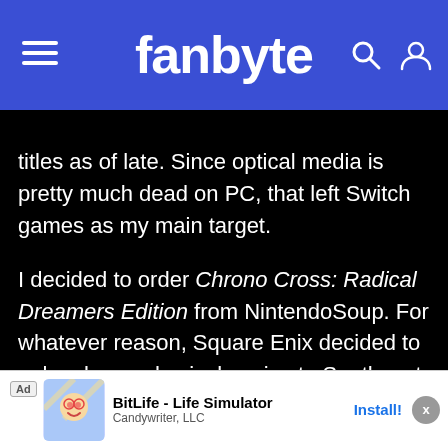fanbyte
titles as of late. Since optical media is pretty much dead on PC, that left Switch games as my main target.

I decided to order Chrono Cross: Radical Dreamers Edition from NintendoSoup. For whatever reason, Square Enix decided to only release physical copies to Southeast Asian markets, but since it had English language support I decided to pay the extra little bit to import it instead of just downloading it off the eShop. NintendoSoup was great to
[Figure (screenshot): Advertisement banner for BitLife - Life Simulator by Candywriter, LLC with an Install button]